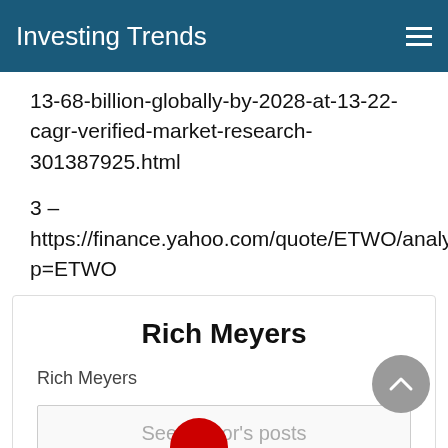Investing Trends
13-68-billion-globally-by-2028-at-13-22-cagr-verified-market-research-301387925.html
3 – https://finance.yahoo.com/quote/ETWO/analysis?p=ETWO
Rich Meyers
Rich Meyers
See author's posts